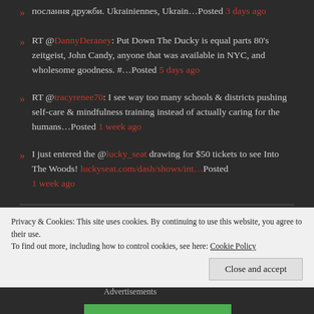послання дружби. Ukrainiennes, Ukrain…Posted 3 days ago
RT @DannyDeraney: Put Down The Ducky is equal parts 80's zeitgeist, John Candy, anyone that was available in NYC, and wholesome goodness. #…Posted 5 days ago
RT @tracyrenee70: I see way too many schools & districts pushing self-care & mindfulness training instead of actually caring for the humans…Posted 1 week ago
I just entered the @lucky_seat drawing for $50 tickets to see Into The Woods! luckyseat.com/dash/shows/int…Posted 1 week ago
SJ WHIPP
Privacy & Cookies: This site uses cookies. By continuing to use this website, you agree to their use. To find out more, including how to control cookies, see here: Cookie Policy
Close and accept
Advertisements